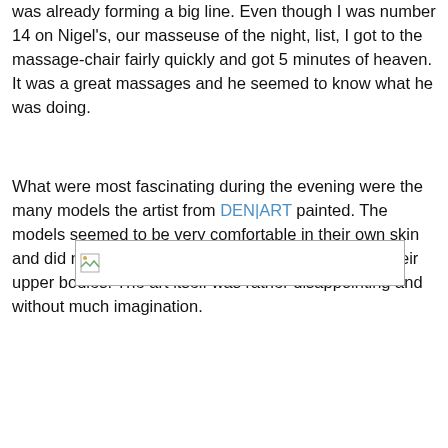was already forming a big line. Even though I was number 14 on Nigel's, our masseuse of the night, list, I got to the massage-chair fairly quickly and got 5 minutes of heaven. It was a great massages and he seemed to know what he was doing.
What were most fascinating during the evening were the many models the artist from DEN|ART painted. The models seemed to be very comfortable in their own skin and did not mind walking around with only paint on their upper bodies. The art itself was rather disappointing and without much imagination.
[Figure (photo): A broken/missing image placeholder rectangle]